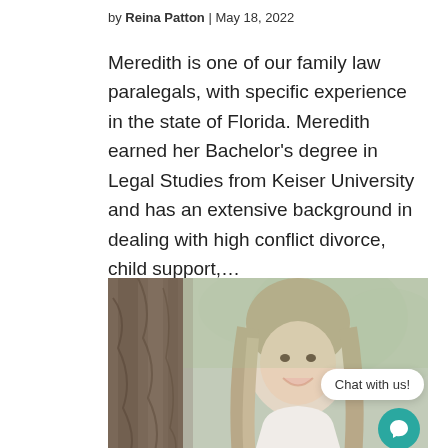by Reina Patton | May 18, 2022
Meredith is one of our family law paralegals, with specific experience in the state of Florida. Meredith earned her Bachelor's degree in Legal Studies from Keiser University and has an extensive background in dealing with high conflict divorce, child support,...
[Figure (photo): Portrait photo of a woman with long brown hair leaning against a tree trunk outdoors, smiling. A 'Chat with us!' bubble and teal chat icon appear in the lower right corner.]